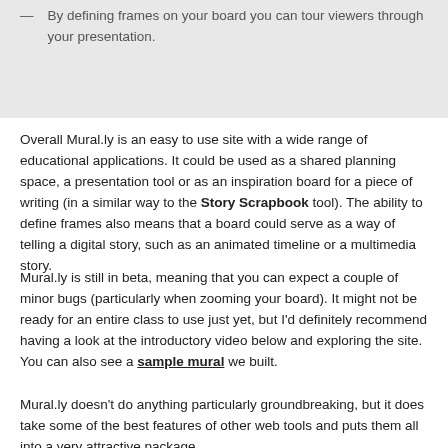— By defining frames on your board you can tour viewers through your presentation.
Overall Mural.ly is an easy to use site with a wide range of educational applications. It could be used as a shared planning space, a presentation tool or as an inspiration board for a piece of writing (in a similar way to the Story Scrapbook tool). The ability to define frames also means that a board could serve as a way of telling a digital story, such as an animated timeline or a multimedia story.
Mural.ly is still in beta, meaning that you can expect a couple of minor bugs (particularly when zooming your board). It might not be ready for an entire class to use just yet, but I'd definitely recommend having a look at the introductory video below and exploring the site. You can also see a sample mural we built.
Mural.ly doesn't do anything particularly groundbreaking, but it does take some of the best features of other web tools and puts them all into a very attractive package.